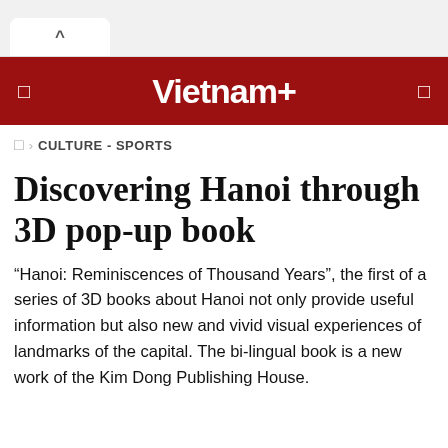Vietnam+
CULTURE - SPORTS
Discovering Hanoi through 3D pop-up book
“Hanoi: Reminiscences of Thousand Years”, the first of a series of 3D books about Hanoi not only provide useful information but also new and vivid visual experiences of landmarks of the capital. The bi-lingual book is a new work of the Kim Dong Publishing House.